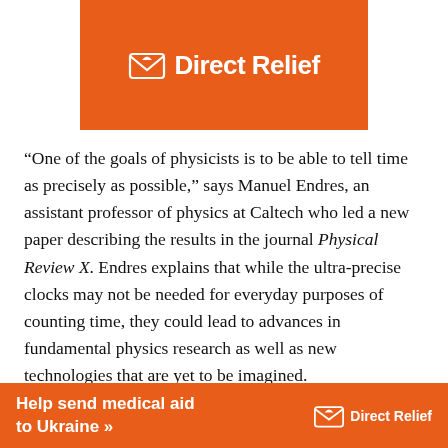[Figure (logo): Direct Relief logo on orange banner — white bird/envelope icon and white text 'Direct Relief' on orange background]
“One of the goals of physicists is to be able to tell time as precisely as possible,” says Manuel Endres, an assistant professor of physics at Caltech who led a new paper describing the results in the journal Physical Review X. Endres explains that while the ultra-precise clocks may not be needed for everyday purposes of counting time, they could lead to advances in fundamental physics research as well as new technologies that are yet to be imagined.
The new clock design builds upon two types of optical atomic clocks already in use. The first type is based on
[Figure (logo): Direct Relief advertisement banner — orange background with white bold text 'Help send medical aid to Ukraine >>' and Direct Relief logo on right]